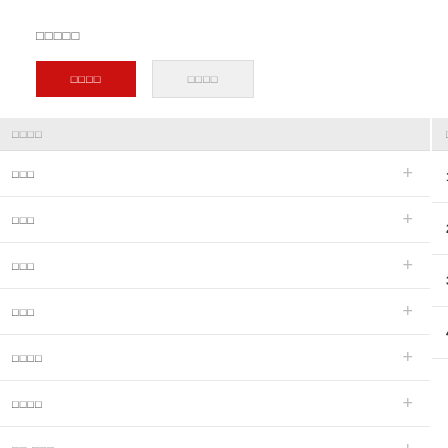□□□□□
□□□□ □□□□
| □□□□ |  | □□ | □□ |
| --- | --- | --- | --- |
| □□□ | + | 1 | □□ |
| □□□ | + | 2 | □□ |
| □□□ | + | 3 | □□ |
| □□□ | + |  |  |
| □□□□ | + |  |  |
| □□□□ | + |  |  |
| □□-□□□ | + | 4 |  |